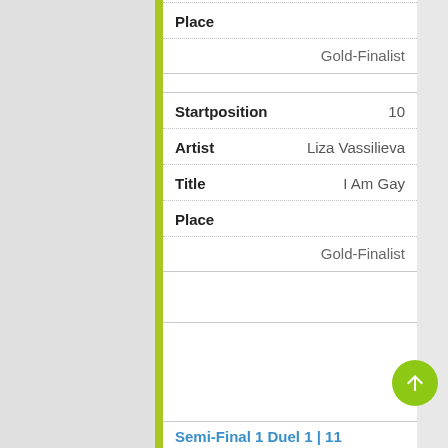Place
Gold-Finalist
Startposition   10
Artist   Liza Vassilieva
Title   I Am Gay
Place
Gold-Finalist
Semi-Final 1 Duel 1 | 11